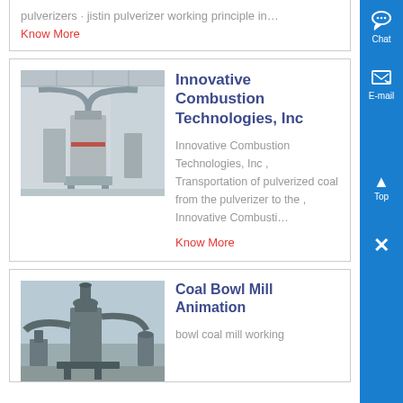pulverizers · jistin pulverizer working principle in…
Know More
[Figure (photo): Industrial combustion equipment / pulverizer machinery inside a large warehouse/factory]
Innovative Combustion Technologies, Inc
Innovative Combustion Technologies, Inc , Transportation of pulverized coal from the pulverizer to the , Innovative Combusti…
Know More
[Figure (photo): Industrial coal bowl mill equipment outdoors with cyclone and ductwork]
Coal Bowl Mill Animation
bowl coal mill working